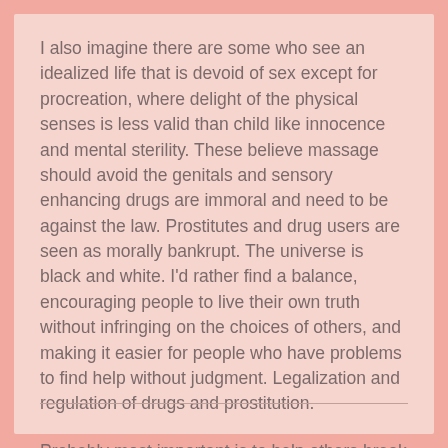I also imagine there are some who see an idealized life that is devoid of sex except for procreation, where delight of the physical senses is less valid than child like innocence and mental sterility. These believe massage should avoid the genitals and sensory enhancing drugs are immoral and need to be against the law. Prostitutes and drug users are seen as morally bankrupt. The universe is black and white. I'd rather find a balance, encouraging people to live their own truth without infringing on the choices of others, and making it easier for people who have problems to find help without judgment. Legalization and regulation of drugs and prostitution.
Probably most important is to help others break free of something that binds me - the tyranny of money. How can you live today without it? How it keeps those in need in a perpetual state of need. It makes the modern world possible, so I don't know how to escape it.